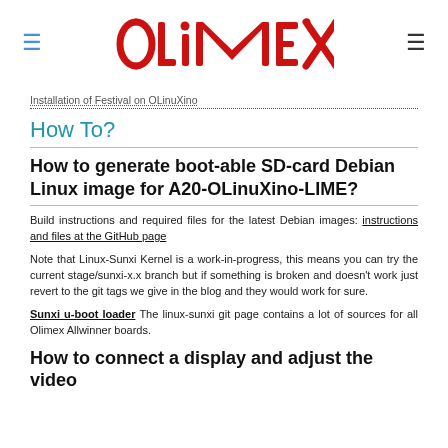[Figure (logo): Olimex logo in red stylized text with circuit-board dot design]
Installation of Festival on OLinuXino
How To?
How to generate boot-able SD-card Debian Linux image for A20-OLinuXino-LIME?
Build instructions and required files for the latest Debian images: instructions and files at the GitHub page
Note that Linux-Sunxi Kernel is a work-in-progress, this means you can try the current stage/sunxi-x.x branch but if something is broken and doesn't work just revert to the git tags we give in the blog and they would work for sure.
Sunxi u-boot loader The linux-sunxi git page contains a lot of sources for all Olimex Allwinner boards.
How to connect a display and adjust the video